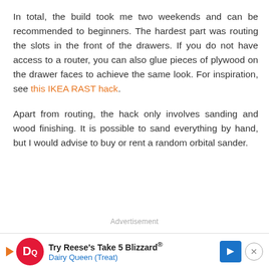In total, the build took me two weekends and can be recommended to beginners. The hardest part was routing the slots in the front of the drawers. If you do not have access to a router, you can also glue pieces of plywood on the drawer faces to achieve the same look. For inspiration, see this IKEA RAST hack.
Apart from routing, the hack only involves sanding and wood finishing. It is possible to sand everything by hand, but I would advise to buy or rent a random orbital sander.
Advertisement
[Figure (other): Dairy Queen advertisement banner: Try Reese's Take 5 Blizzard® Dairy Queen (Treat) with DQ logo, play button, arrow sign, and close button]